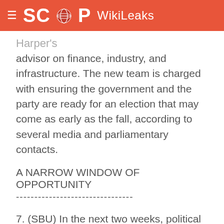SCOOP WikiLeaks
Harper's
advisor on finance, industry, and infrastructure. The new team is charged with ensuring the government and the party are ready for an election that may come as early as the fall, according to several media and parliamentary contacts.
A NARROW WINDOW OF OPPORTUNITY
--------------------------------
7. (SBU) In the next two weeks, political parties will hold retreats